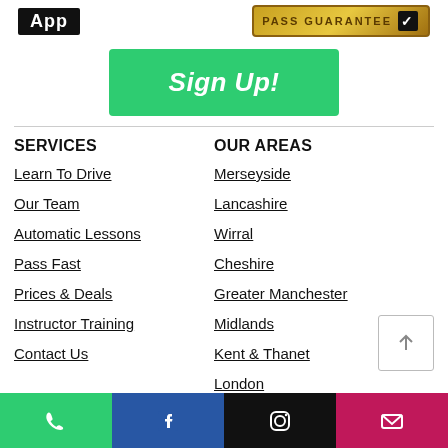[Figure (logo): App logo in black box]
[Figure (logo): Pass Guarantee badge with gold background and black checkmark]
Sign Up!
SERVICES
OUR AREAS
Learn To Drive
Merseyside
Our Team
Lancashire
Automatic Lessons
Wirral
Pass Fast
Cheshire
Prices & Deals
Greater Manchester
Instructor Training
Midlands
Contact Us
Kent & Thanet
London
[Figure (infographic): Bottom bar with phone, Facebook, Instagram, and email icons]